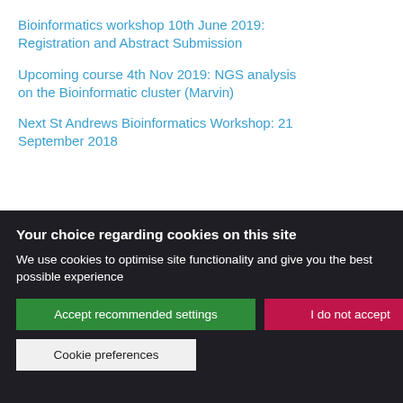Bioinformatics workshop 10th June 2019: Registration and Abstract Submission
Upcoming course 4th Nov 2019: NGS analysis on the Bioinformatic cluster (Marvin)
Next St Andrews Bioinformatics Workshop: 21 September 2018
Your choice regarding cookies on this site
We use cookies to optimise site functionality and give you the best possible experience
Accept recommended settings
I do not accept
Cookie preferences